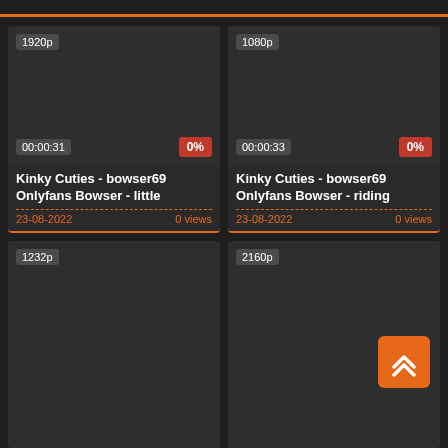[Figure (screenshot): Video thumbnail card - 1920p, duration 00:00:31, 0%, title: Kinky Cuties - bowser69 Onlyfans Bowser - little, date: 23-08-2022, 0 views]
[Figure (screenshot): Video thumbnail card - 1080p, duration 00:00:33, 0%, title: Kinky Cuties - bowser69 Onlyfans Bowser - riding, date: 23-08-2022, 0 views]
[Figure (screenshot): Video thumbnail card - 1232p, partially visible, bottom cut off]
[Figure (screenshot): Video thumbnail card - 2160p, partially visible with orange scroll-to-top button]